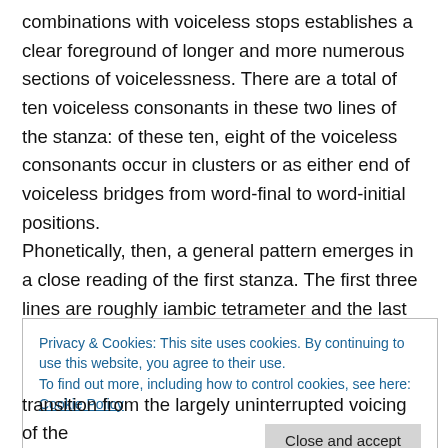combinations with voiceless stops establishes a clear foreground of longer and more numerous sections of voicelessness. There are a total of ten voiceless consonants in these two lines of the stanza: of these ten, eight of the voiceless consonants occur in clusters or as either end of voiceless bridges from word-final to word-initial positions. Phonetically, then, a general pattern emerges in a close reading of the first stanza. The first three lines are roughly iambic tetrameter and the last two, iambic trimeter, with a looseness throughout in regard to the
Privacy & Cookies: This site uses cookies. By continuing to use this website, you agree to their use. To find out more, including how to control cookies, see here: Cookie Policy
Close and accept
transition from the largely uninterrupted voicing of the